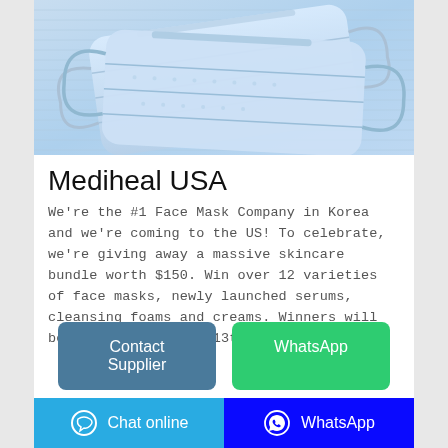[Figure (photo): Light blue disposable face masks arranged on a light blue background]
Mediheal USA
We're the #1 Face Mask Company in Korea and we're coming to the US! To celebrate, we're giving away a massive skincare bundle worth $150. Win over 12 varieties of face masks, newly launched serums, cleansing foams and creams. Winners will be announced on May 13th, 2019
Contact Supplier
WhatsApp
Chat online | WhatsApp